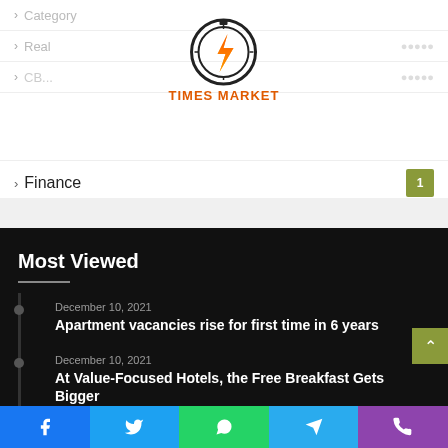[Figure (logo): Times Market logo with stopwatch and lightning bolt icon, orange text reading TIMES MARKET]
Finance 1
Most Viewed
December 10, 2021
Apartment vacancies rise for first time in 6 years
December 10, 2021
At Value-Focused Hotels, the Free Breakfast Gets Bigger
December 10, 2021